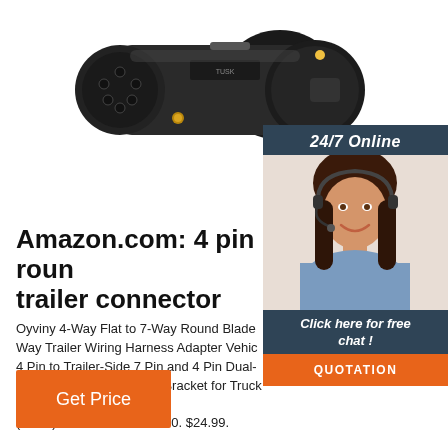[Figure (photo): Black 7-pin round trailer connector plug photographed against white background, showing cylindrical body with pin receptacles]
[Figure (photo): Customer service representative woman with headset smiling, shown in a dark blue sidebar panel with '24/7 Online' header and chat/quotation buttons]
Amazon.com: 4 pin round trailer connector
Oyviny 4-Way Flat to 7-Way Round Blade Way Trailer Wiring Harness Adapter Vehic 4 Pin to Trailer-Side 7 Pin and 4 Pin Dual- Connector with Mounting Bracket for Truck RV (Black) 4.5 out of 5 stars. 60. $24.99.
Get Price